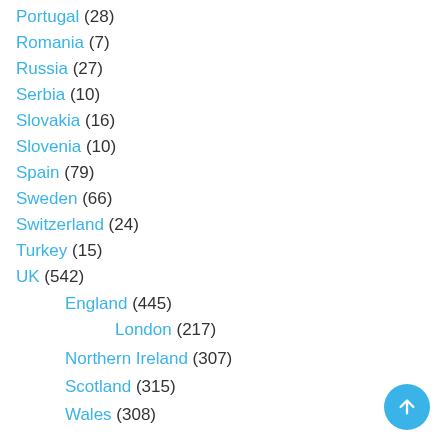Portugal (28)
Romania (7)
Russia (27)
Serbia (10)
Slovakia (16)
Slovenia (10)
Spain (79)
Sweden (66)
Switzerland (24)
Turkey (15)
UK (542)
England (445)
London (217)
Northern Ireland (307)
Scotland (315)
Wales (308)